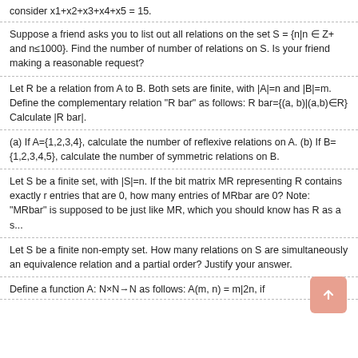consider x1+x2+x3+x4+x5 = 15.
Suppose a friend asks you to list out all relations on the set S = {n|n ∈ Z+ and n≤1000}. Find the number of number of relations on S. Is your friend making a reasonable request?
Let R be a relation from A to B. Both sets are finite, with |A|=n and |B|=m. Define the complementary relation "R bar" as follows: R bar={(a, b)|(a,b)∈R} Calculate |R bar|.
(a) If A={1,2,3,4}, calculate the number of reflexive relations on A. (b) If B={1,2,3,4,5}, calculate the number of symmetric relations on B.
Let S be a finite set, with |S|=n. If the bit matrix MR representing R contains exactly r entries that are 0, how many entries of MRbar are 0? Note: "MRbar" is supposed to be just like MR, which you should know has R as a s...
Let S be a finite non-empty set. How many relations on S are simultaneously an equivalence relation and a partial order? Justify your answer.
Define a function A: N×N→N as follows: A(m, n) = m|2n, if...